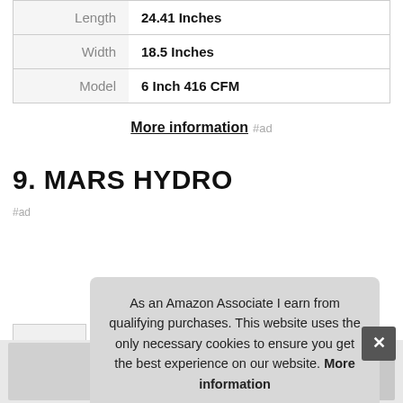| Attribute | Value |
| --- | --- |
| Length | 24.41 Inches |
| Width | 18.5 Inches |
| Model | 6 Inch 416 CFM |
More information #ad
9. MARS HYDRO
#ad
As an Amazon Associate I earn from qualifying purchases. This website uses the only necessary cookies to ensure you get the best experience on our website. More information